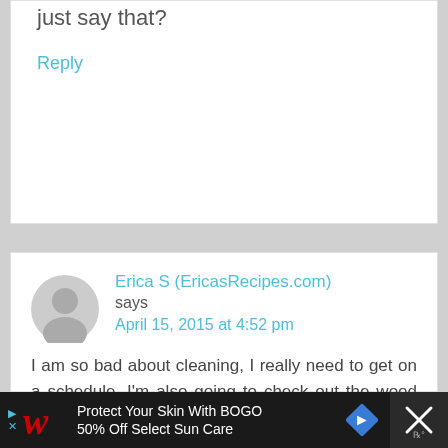just say that?
Reply
Erica S (EricasRecipes.com) says
April 15, 2015 at 4:52 pm
I am so bad about cleaning, I really need to get on a schedule. I'm also going to check out the wood floor cleaner and shower wand. Handy post!
[Figure (other): Walgreens advertisement banner: Protect Your Skin With BOGO 50% Off Select Sun Care]
[Figure (other): Close/dismiss button with X icon]